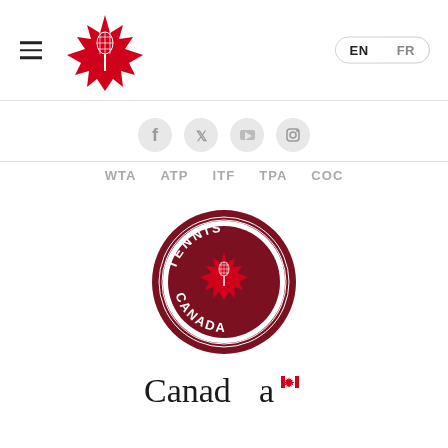[Figure (logo): Tennis Canada header logo: red maple leaf with tennis racket, navigation hamburger menu, EN/FR language switcher]
[Figure (logo): Social media icon buttons row: Facebook, Twitter/X, YouTube, Instagram]
WTA   ATP   ITF   TPA   COC
[Figure (logo): Tennis Canada circular badge logo: dark red circle with white text TENNIS CANADA around a maple leaf with tennis racket]
[Figure (logo): Canada wordmark with Canadian flag maple leaf]